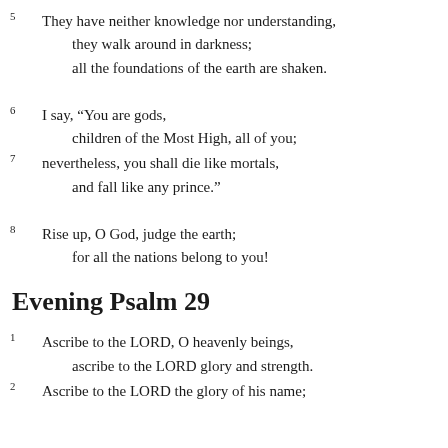5 They have neither knowledge nor understanding, they walk around in darkness; all the foundations of the earth are shaken.
6 I say, “You are gods, children of the Most High, all of you;
7 nevertheless, you shall die like mortals, and fall like any prince.”
8 Rise up, O God, judge the earth; for all the nations belong to you!
Evening Psalm 29
1 Ascribe to the LORD, O heavenly beings, ascribe to the LORD glory and strength.
2 Ascribe to the LORD the glory of his name;